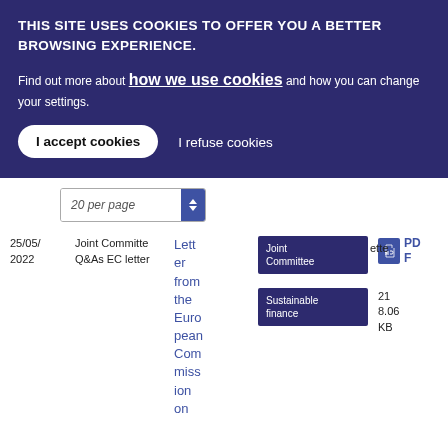THIS SITE USES COOKIES TO OFFER YOU A BETTER BROWSING EXPERIENCE.
Find out more about how we use cookies and how you can change your settings.
I accept cookies
I refuse cookies
20 per page
25/05/2022
Joint Committee Q&As EC letter
Letter from the European Commission on
Joint Committee
Sustainable finance
PDF
21
8.06 KB